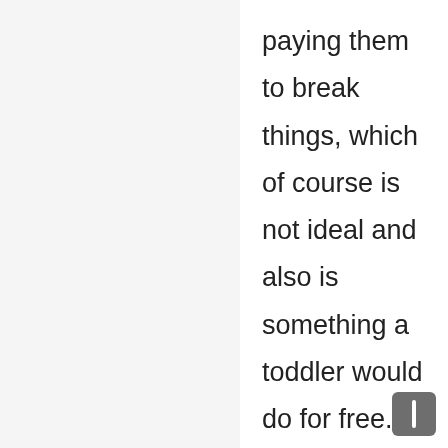paying them to break things, which of course is not ideal and also is something a toddler would do for free. I prefer to be able to talk to the movers so they know which things to be extra careful with. A box full of clothes is fine to jostle around but be gentle with these dishes, thanks. Movers who don't listen to your needs aren't